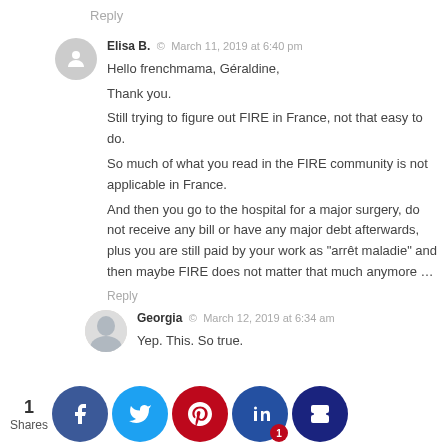Reply
Elisa B. · March 11, 2019 at 6:40 pm
Hello frenchmama, Géraldine,
Thank you.
Still trying to figure out FIRE in France, not that easy to do.
So much of what you read in the FIRE community is not applicable in France.
And then you go to the hospital for a major surgery, do not receive any bill or have any major debt afterwards, plus you are still paid by your work as "arrêt maladie" and then maybe FIRE does not matter that much anymore …
Reply
Georgia · March 12, 2019 at 6:34 am
Yep. This. So true.
Georgia · March 11, 2019 at 1:37 pm
...d I alw...coutu...g. I th...ecause...we ha...broker w...well-dr...and pull...